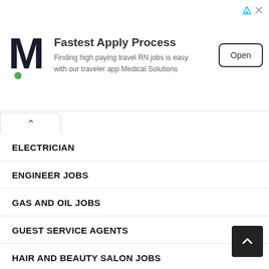[Figure (other): Advertisement banner: Medical Solutions logo (M with green dot), headline 'Fastest Apply Process', subtext 'Finding high paying travel RN jobs is easy with our traveler app Medical Solutions', and an 'Open' button]
ELECTRICIAN
ENGINEER JOBS
GAS AND OIL JOBS
GUEST SERVICE AGENTS
HAIR AND BEAUTY SALON JOBS
HELPER
HOSPITAL JOBS